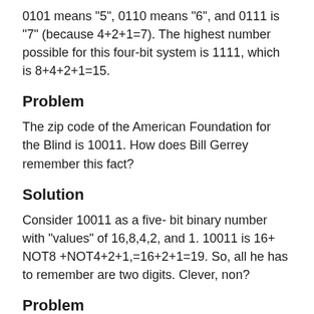0101 means "5", 0110 means "6", and 0111 is "7" (because 4+2+1=7). The highest number possible for this four-bit system is 1111, which is 8+4+2+1=15.
Problem
The zip code of the American Foundation for the Blind is 10011. How does Bill Gerrey remember this fact?
Solution
Consider 10011 as a five- bit binary number with "values" of 16,8,4,2, and 1. 10011 is 16+ NOT8 +NOT4+2+1,=16+2+1=19. So, all he has to remember are two digits. Clever, non?
Problem